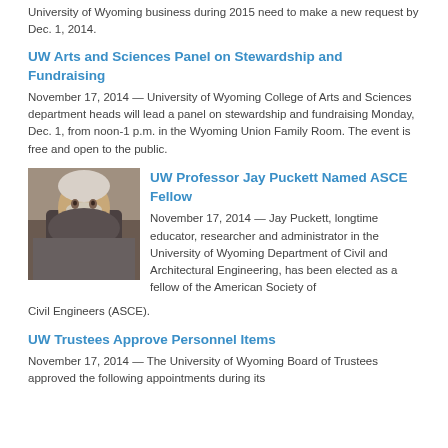University of Wyoming business during 2015 need to make a new request by Dec. 1, 2014.
UW Arts and Sciences Panel on Stewardship and Fundraising
November 17, 2014 — University of Wyoming College of Arts and Sciences department heads will lead a panel on stewardship and fundraising Monday, Dec. 1, from noon-1 p.m. in the Wyoming Union Family Room. The event is free and open to the public.
[Figure (photo): Portrait photo of Jay Puckett, a man with white hair and beard wearing a dark jacket]
UW Professor Jay Puckett Named ASCE Fellow
November 17, 2014 — Jay Puckett, longtime educator, researcher and administrator in the University of Wyoming Department of Civil and Architectural Engineering, has been elected as a fellow of the American Society of Civil Engineers (ASCE).
UW Trustees Approve Personnel Items
November 17, 2014 — The University of Wyoming Board of Trustees approved the following appointments during its